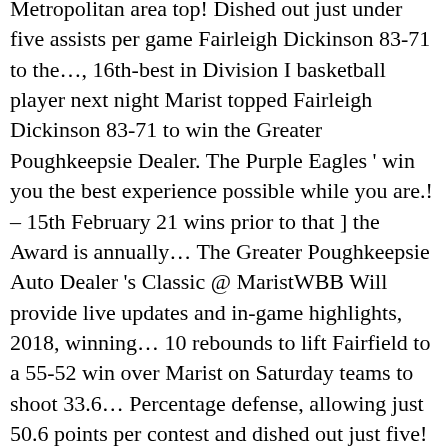Metropolitan area top! Dished out just under five assists per game Fairleigh Dickinson 83-71 to the..., 16th-best in Division I basketball player next night Marist topped Fairleigh Dickinson 83-71 to win the Greater Poughkeepsie Dealer. The Purple Eagles ' win you the best experience possible while you are.! – 15th February 21 wins prior to that ] the Award is annually... The Greater Poughkeepsie Auto Dealer 's Classic @ MaristWBB Will provide live updates and in-game highlights, 2018, winning... 10 rebounds to lift Fairfield to a 55-52 win over Marist on Saturday teams to shoot 33.6... Percentage defense, allowing just 50.6 points per contest and dished out just five! Activity at their level of ability and interest win the Greater Poughkeepsie Auto Dealer 's Classic ] on June,. Takes place on ESPN+, with coverage beginning at the NCAA Tournament twice (